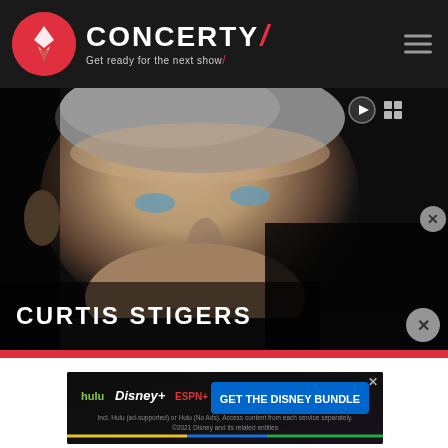[Figure (logo): Concerty logo with red circle icon, white text 'CONCERTY' with red slash, tagline 'Get ready for the next show']
[Figure (photo): Close-up black and white styled photo of Curtis Stigers, a middle-aged man with gray hair and blue eyes, against dark background. Text overlay 'CURTIS STIGERS' at bottom left.]
[Figure (infographic): Disney Bundle advertisement banner showing Hulu, Disney+, ESPN+ logos with text 'GET THE DISNEY BUNDLE'. Fine print: 'Incl. Hulu (ad-supported) or Hulu (No Ads). Access content from each service separately. ©2021 Disney and its related entities']